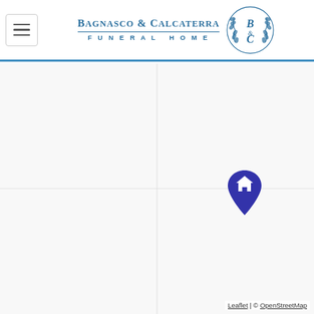[Figure (logo): Bagnasco & Calcaterra Funeral Home logo with text and wreath emblem]
[Figure (map): OpenStreetMap showing location marker (house/home pin) for Bagnasco & Calcaterra Funeral Home]
Leaflet | © OpenStreetMap